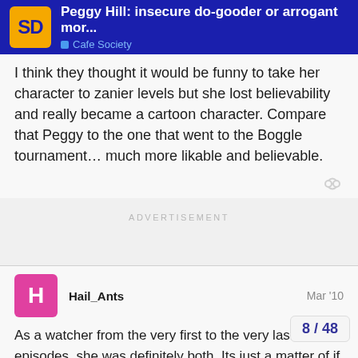Peggy Hill: insecure do-gooder or arrogant mor... — Cafe Society
I think they thought it would be funny to take her character to zanier levels but she lost believability and really became a cartoon character. Compare that Peggy to the one that went to the Boggle tournament… much more likable and believable.
ADVERTISEMENT
Hail_Ants Mar '10
As a watcher from the very first to the very last (:() episodes, she was definitely both. Its just a matter of if one side seems more important (or annoying) to you.
Over the years I've found that this always…
8 / 48